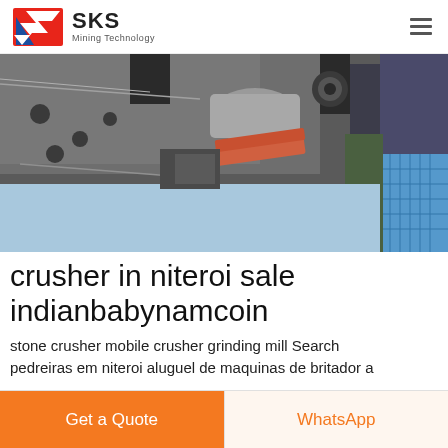SKS Mining Technology
[Figure (photo): Underside view of industrial mining crusher machinery showing metal components, belts, and mechanical parts against a blue sky background]
crusher in niteroi sale indianbabynamcoin
stone crusher mobile crusher grinding mill Search pedreiras em niteroi aluguel de maquinas de britador a
Get a Quote
WhatsApp